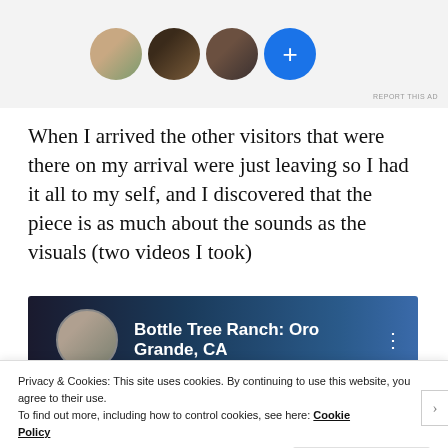[Figure (illustration): Row of four circular avatar images followed by a blue circle with a plus sign, on a grey background. 'REPORT THIS AD' text at bottom right.]
When I arrived the other visitors that were there on my arrival were just leaving so I had it all to my self, and I discovered that the piece is as much about the sounds as the visuals (two videos I took)
[Figure (screenshot): Video thumbnail for 'Bottle Tree Ranch: Oro Grande, CA' with dark blue background, circular avatar on left, title text, and three-dot menu icon.]
Privacy & Cookies: This site uses cookies. By continuing to use this website, you agree to their use.
To find out more, including how to control cookies, see here: Cookie Policy
Close and accept